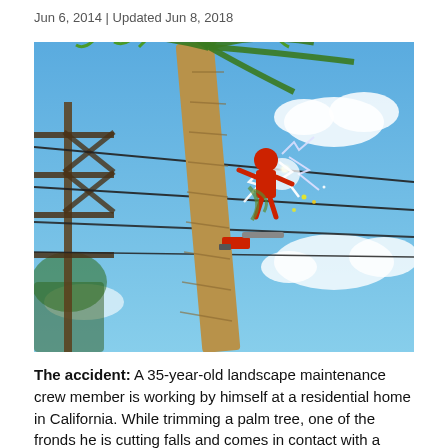Jun 6, 2014 | Updated Jun 8, 2018
[Figure (illustration): Illustrated image of a person in red climbing a tall palm tree with a chainsaw, making contact with electric power lines, with lightning/sparks visible and a blue sky background with clouds. A utility pole structure is visible on the left side.]
The accident: A 35-year-old landscape maintenance crew member is working by himself at a residential home in California. While trimming a palm tree, one of the fronds he is cutting falls and comes in contact with a 16,000-volt electric line located 6